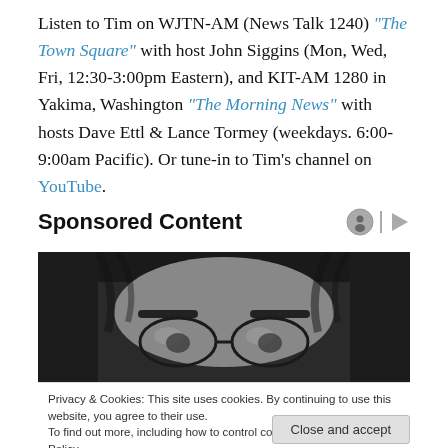Listen to Tim on WJTN-AM (News Talk 1240) "The Town Square" with host John Siggins (Mon, Wed, Fri, 12:30-3:00pm Eastern), and KIT-AM 1280 in Yakima, Washington "The Morning News" with hosts Dave Ettl & Lance Tormey (weekdays. 6:00-9:00am Pacific). Or tune-in to Tim's channel on YouTube.
Sponsored Content
[Figure (photo): Black and white close-up photo of a person's eyes and forehead, wearing glasses, with dark hair visible.]
Privacy & Cookies: This site uses cookies. By continuing to use this website, you agree to their use.
To find out more, including how to control cookies, see here: Cookie Policy
Close and accept